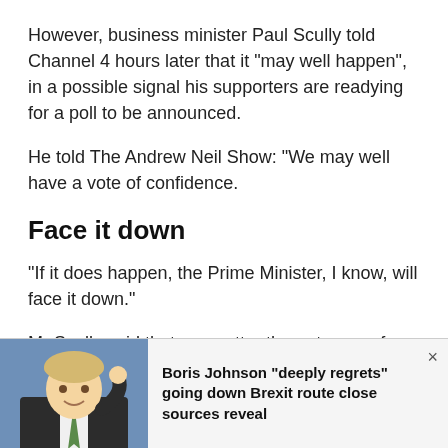However, business minister Paul Scully told Channel 4 hours later that it “may well happen”, in a possible signal his supporters are readying for a poll to be announced.
He told The Andrew Neil Show: “We may well have a vote of confidence.
Face it down
“If it does happen, the Prime Minister, I know, will face it down.”
Mr Scully said that, no matter the outcome of a potential vote, the party needed to move on to deal
[Figure (photo): Photo of Boris Johnson scratching his head, wearing a suit, with a blue background]
Boris Johnson “deeply regrets” going down Brexit route close sources reveal